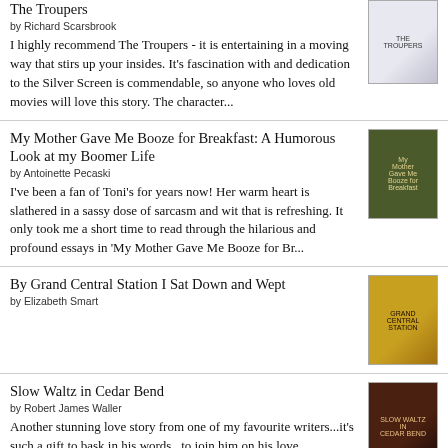The Troupers
by Richard Scarsbrook
I highly recommend The Troupers - it is entertaining in a moving way that stirs up your insides. It's fascination with and dedication to the Silver Screen is commendable, so anyone who loves old movies will love this story. The character...
My Mother Gave Me Booze for Breakfast: A Humorous Look at my Boomer Life
by Antoinette Pecaski
I've been a fan of Toni's for years now! Her warm heart is slathered in a sassy dose of sarcasm and wit that is refreshing. It only took me a short time to read through the hilarious and profound essays in 'My Mother Gave Me Booze for Br...
By Grand Central Station I Sat Down and Wept
by Elizabeth Smart
Slow Waltz in Cedar Bend
by Robert James Waller
Another stunning love story from one of my favourite writers...it's such a gift to bask in his words...to join him on his love